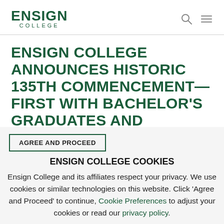ENSIGN COLLEGE
ENSIGN COLLEGE ANNOUNCES HISTORIC 135TH COMMENCEMENT—FIRST WITH BACHELOR'S GRADUATES AND
AGREE AND PROCEED
ENSIGN COLLEGE COOKIES
Ensign College and its affiliates respect your privacy. We use cookies or similar technologies on this website. Click 'Agree and Proceed' to continue, Cookie Preferences to adjust your cookies or read our privacy policy.